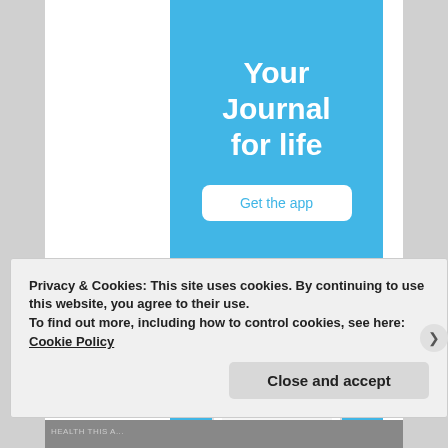[Figure (screenshot): Blue advertisement banner for a journal app reading 'Your Journal for life' with a 'Get the app' button and a phone mockup at the bottom]
Privacy & Cookies: This site uses cookies. By continuing to use this website, you agree to their use.
To find out more, including how to control cookies, see here: Cookie Policy
Close and accept